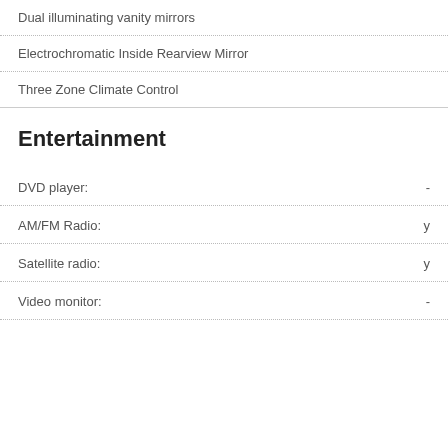Dual illuminating vanity mirrors
Electrochromatic Inside Rearview Mirror
Three Zone Climate Control
Entertainment
DVD player: -
AM/FM Radio: y
Satellite radio: y
Video monitor: -